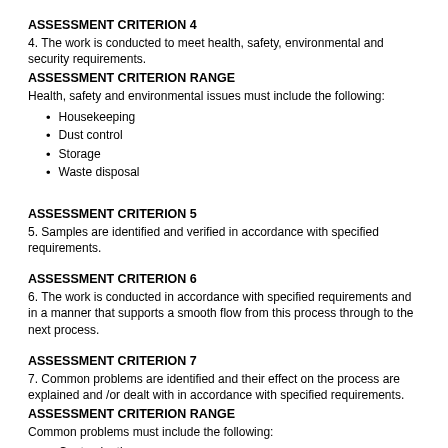ASSESSMENT CRITERION 4
4. The work is conducted to meet health, safety, environmental and security requirements.
ASSESSMENT CRITERION RANGE
Health, safety and environmental issues must include the following:
Housekeeping
Dust control
Storage
Waste disposal
ASSESSMENT CRITERION 5
5. Samples are identified and verified in accordance with specified requirements.
ASSESSMENT CRITERION 6
6. The work is conducted in accordance with specified requirements and in a manner that supports a smooth flow from this process through to the next process.
ASSESSMENT CRITERION 7
7. Common problems are identified and their effect on the process are explained and /or dealt with in accordance with specified requirements.
ASSESSMENT CRITERION RANGE
Common problems must include the following:
Contamination